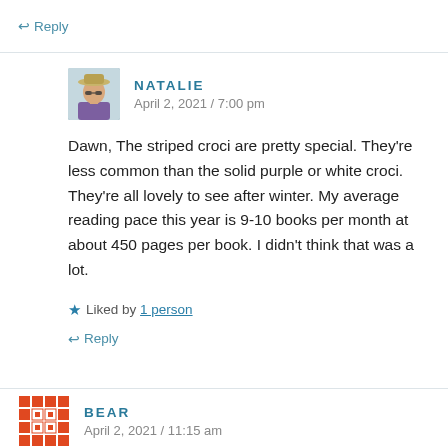↩ Reply
NATALIE
April 2, 2021 / 7:00 pm
Dawn, The striped croci are pretty special. They're less common than the solid purple or white croci. They're all lovely to see after winter. My average reading pace this year is 9-10 books per month at about 450 pages per book. I didn't think that was a lot.
★ Liked by 1 person
↩ Reply
BEAR
April 2, 2021 / 11:15 am